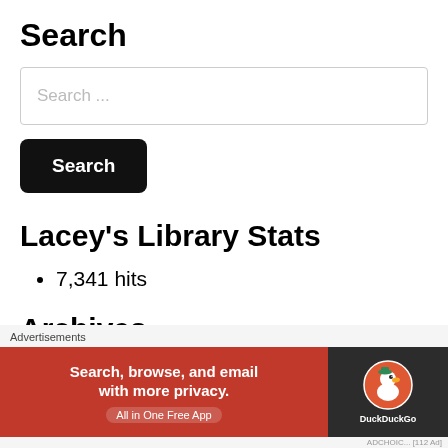Search
Search ...
Search
Lacey's Library Stats
7,341 hits
Archives
Select Month
Advertisements
[Figure (screenshot): DuckDuckGo advertisement banner: orange/red section with text 'Search, browse, and email with more privacy. All in One Free App' and dark section with DuckDuckGo duck logo and brand name]